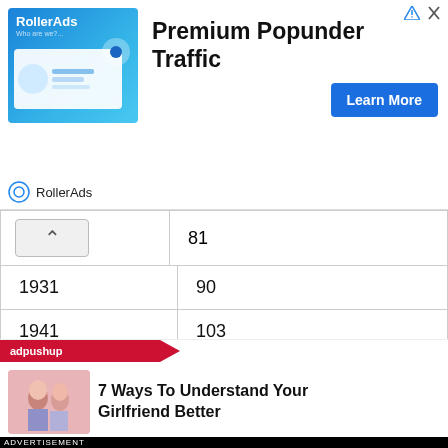[Figure (illustration): RollerAds advertisement banner for Premium Popunder Traffic with Learn More button]
|  | 81 |
| 1931 | 90 |
| 1941 | 103 |
| 1951 | 117 |
| 1961 | 142 |
| 1971 | 177 |
| 1981 | 216 |
| 1991 | 274 |
| 2001 | 324 |
[Figure (illustration): adpushup ad: 7 Ways To Understand Your Girlfriend Better]